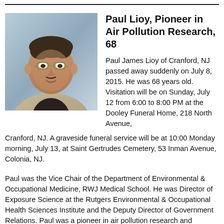[Figure (photo): Portrait photograph of Paul Lioy, a middle-aged man with glasses, wearing a light beige blazer and dark shirt, against a blue-grey background.]
Paul Lioy, Pioneer in Air Pollution Research, 68
Paul James Lioy of Cranford, NJ passed away suddenly on July 8, 2015. He was 68 years old. Visitation will be on Sunday, July 12 from 6:00 to 8:00 PM at the Dooley Funeral Home, 218 North Avenue, Cranford, NJ. A graveside funeral service will be at 10:00 Monday morning, July 13, at Saint Gertrudes Cemetery, 53 Inman Avenue, Colonia, NJ.
Paul was the Vice Chair of the Department of Environmental & Occupational Medicine, RWJ Medical School. He was Director of Exposure Science at the Rutgers Environmental & Occupational Health Sciences Institute and the Deputy Director of Government Relations. Paul was a pioneer in air pollution research and...